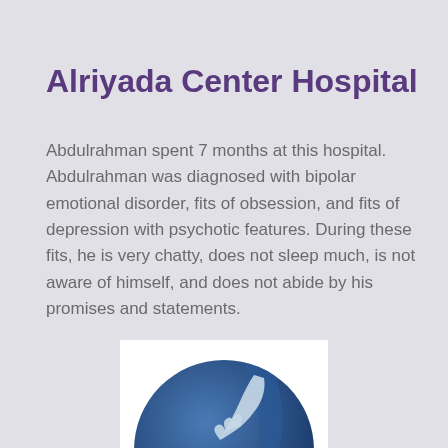Alriyada Center Hospital
Abdulrahman spent 7 months at this hospital. Abdulrahman was diagnosed with bipolar emotional disorder, fits of obsession, and fits of depression with psychotic features. During these fits, he is very chatty, does not sleep much, is not aware of himself, and does not abide by his promises and statements.
[Figure (logo): Alriyada Center Hospital logo: a dark blue circle with two hands reaching toward each other (one from above, one from below), with Arabic text below.]